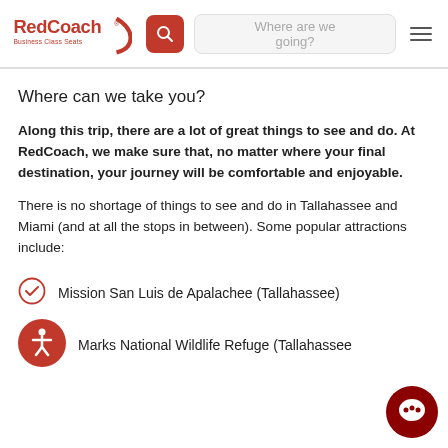RedCoach Business Class Seats — Where are we going? [search/nav]
Where can we take you?
Along this trip, there are a lot of great things to see and do. At RedCoach, we make sure that, no matter where your final destination, your journey will be comfortable and enjoyable.
There is no shortage of things to see and do in Tallahassee and Miami (and at all the stops in between). Some popular attractions include:
Mission San Luis de Apalachee (Tallahassee)
Marks National Wildlife Refuge (Tallahassee)